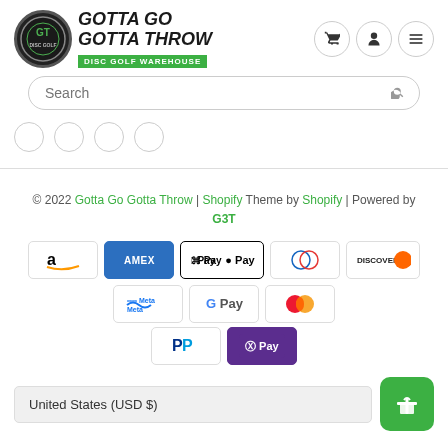[Figure (logo): Gotta Go Gotta Throw Disc Golf Warehouse logo with circular emblem and green banner]
Search
[Figure (infographic): Four small circular placeholder icons in a row]
© 2022 Gotta Go Gotta Throw | Shopify Theme by Shopify | Powered by G3T
[Figure (infographic): Payment method icons: Amazon, American Express, Apple Pay, Diners Club, Discover, Meta Pay, Google Pay, Mastercard, PayPal, Shop Pay]
United States (USD $)